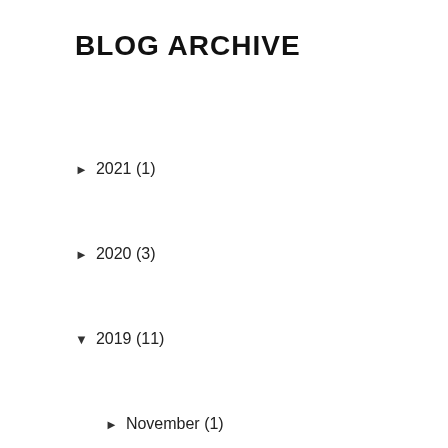BLOG ARCHIVE
► 2021 (1)
► 2020 (3)
▼ 2019 (11)
► November (1)
► October (5)
► September (2)
▼ June (3)
20 Amazing Health Quotes to Help you Develop (Life...
20 Cutest Baby Girl Accessories (Tips How to Choose)
20 Most Important Fashion Quotes That Can